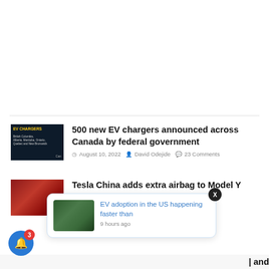[Figure (other): White blank/advertisement area at top of page]
500 new EV chargers announced across Canada by federal government
August 10, 2022  David Odejide  23 Comments
Tesla China adds extra airbag to Model Y
[Figure (other): Notification popup: EV adoption in the US happening faster than - 9 hours ago]
EV adoption in the US happening faster than
9 hours ago
and